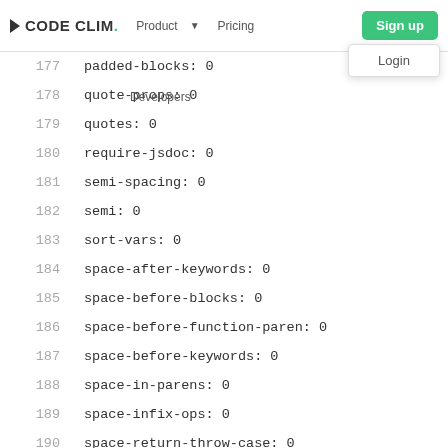CODE CLIM. | Product | Pricing | Sign up | Login | Developers
177    padded-blocks: 0
178    quote-props: 0
179    quotes: 0
180    require-jsdoc: 0
181    semi-spacing: 0
182    semi: 0
183    sort-vars: 0
184    space-after-keywords: 0
185    space-before-blocks: 0
186    space-before-function-paren: 0
187    space-before-keywords: 0
188    space-in-parens: 0
189    space-infix-ops: 0
190    space-return-throw-case: 0
191    space-unary-ops: 0
192    spaced-comment: 0
193    wrap-regex: 0